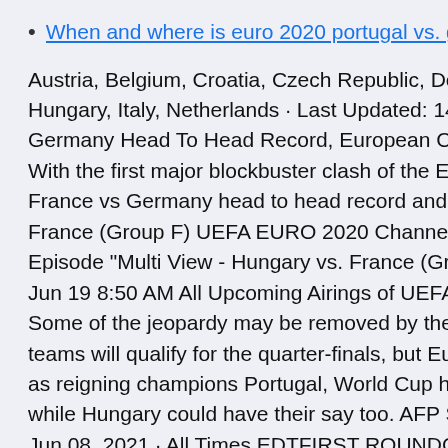When and where is euro 2020 portugal vs. germany
Austria, Belgium, Croatia, Czech Republic, Denmark, England, Hungary, Italy, Netherlands · Last Updated: 14th June, 2021 · Germany Head To Head Record, European Championship · With the first major blockbuster clash of the Euro 2020 in s France vs Germany head to head record and their history. France (Group F) UEFA EURO 2020 Channel www Jun 19 Episode "Multi View - Hungary vs. France (Group F) UEFA Jun 19 8:50 AM All Upcoming Airings of UEFA European Ch Some of the jeopardy may be removed by the fact that th teams will qualify for the quarter-finals, but Euro 2020's Gro as reigning champions Portugal, World Cup holders France while Hungary could have their say too. AFP Sport casts it Jun 08, 2021 · All Times EDTFIRST ROUNDGROUP AGPWDLGFGAPtsItaly0000000Switzerland0000000Turke